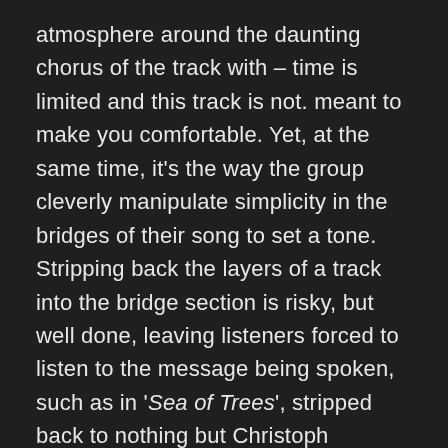atmosphere around the daunting chorus of the track with – time is limited and this track is not. meant to make you comfortable. Yet, at the same time, it's the way the group cleverly manipulate simplicity in the bridges of their song to set a tone. Stripping back the layers of a track into the bridge section is risky, but well done, leaving listeners forced to listen to the message being spoken, such as in 'Sea of Trees', stripped back to nothing but Christoph Wieczorek's clean vocals and a slight synth track, leaving you to truly hear the words behind the track, not hidden behind the heavy musiciality.